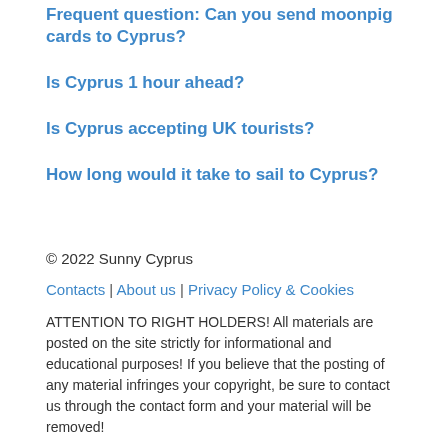Frequent question: Can you send moonpig cards to Cyprus?
Is Cyprus 1 hour ahead?
Is Cyprus accepting UK tourists?
How long would it take to sail to Cyprus?
© 2022 Sunny Cyprus
Contacts | About us | Privacy Policy & Cookies
ATTENTION TO RIGHT HOLDERS! All materials are posted on the site strictly for informational and educational purposes! If you believe that the posting of any material infringes your copyright, be sure to contact us through the contact form and your material will be removed!